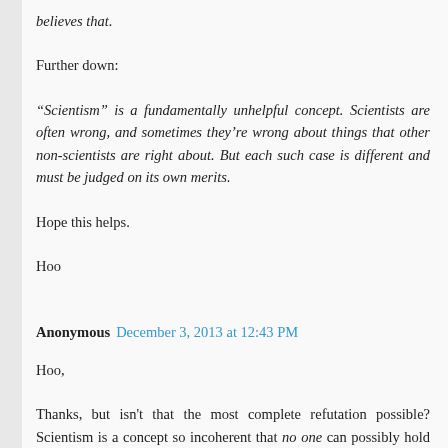believes that.
Further down:
“Scientism” is a fundamentally unhelpful concept. Scientists are often wrong, and sometimes they’re wrong about things that other non-scientists are right about. But each such case is different and must be judged on its own merits.
Hope this helps.
Hoo
Anonymous December 3, 2013 at 12:43 PM
Hoo,
Thanks, but isn't that the most complete refutation possible? Scientism is a concept so incoherent that no one can possibly hold to it. Sort of like relativism or some of that postmodern